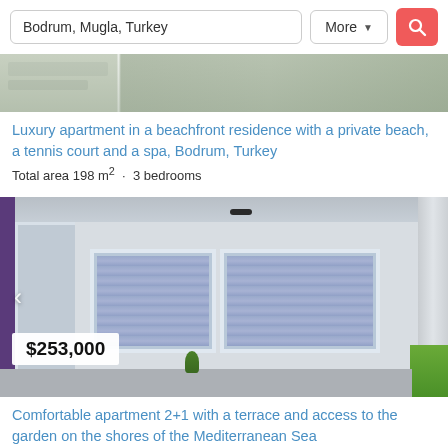Bodrum, Mugla, Turkey | More | [search]
[Figure (photo): Partial top strip of a property listing photo showing beachfront or landscape scene]
Luxury apartment in a beachfront residence with a private beach, a tennis court and a spa, Bodrum, Turkey
Total area 198 m² · 3 bedrooms
[Figure (photo): Exterior photo of a white apartment building with sliding glass windows showing curtains, a column on the right, and green grass. Price badge shows $253,000. Navigation arrow on left.]
Comfortable apartment 2+1 with a terrace and access to the garden on the shores of the Mediterranean Sea